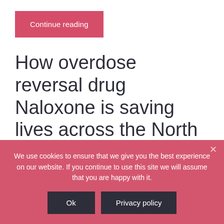Continue reading
How overdose reversal drug Naloxone is saving lives across the North West
Written on April 13, 2022. Posted in Press.
We use cookies to ensure that we give you the best experience on our website. If you continue to use this site we will assume that you are happy with it.
Ok
Privacy policy